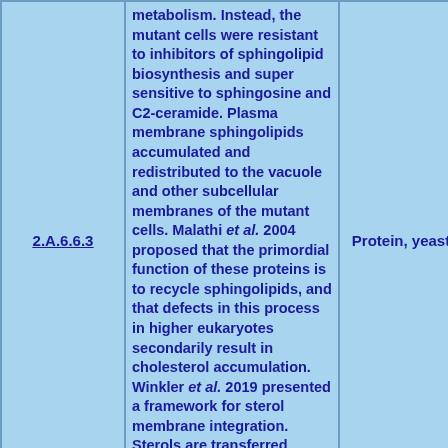| ID | Description | Type | Name |
| --- | --- | --- | --- |
| 2.A.6.6.3 | metabolism. Instead, the mutant cells were resistant to inhibitors of sphingolipid biosynthesis and super sensitive to sphingosine and C2-ceramide. Plasma membrane sphingolipids accumulated and redistributed to the vacuole and other subcellular membranes of the mutant cells. Malathi et al. 2004 proposed that the primordial function of these proteins is to recycle sphingolipids, and that defects in this process in higher eukaryotes secondarily result in cholesterol accumulation. Winkler et al. 2019 presented a framework for sterol membrane integration. Sterols are transferred between | Protein, yeast | NCR1/N... Sacchar... cerevisio... |